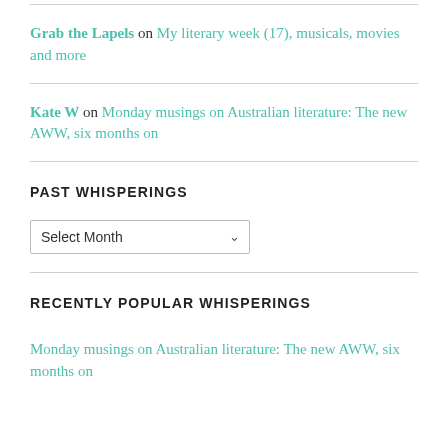Grab the Lapels on My literary week (17), musicals, movies and more
Kate W on Monday musings on Australian literature: The new AWW, six months on
PAST WHISPERINGS
Select Month
RECENTLY POPULAR WHISPERINGS
Monday musings on Australian literature: The new AWW, six months on